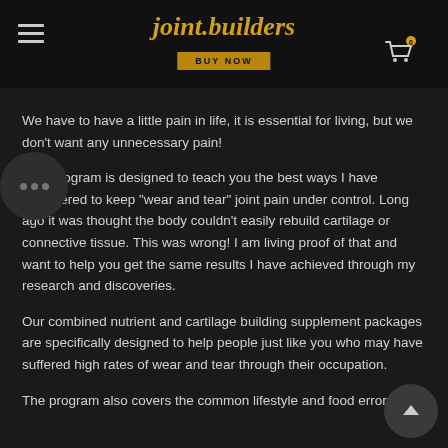joint.builders
We have to have a little pain in life, it is essential for living, but we don't want any unnecessary pain!
This program is designed to teach you the best ways I have discovered to keep "wear and tear" joint pain under control. Long ago it was thought the body couldn't easily rebuild cartilage or connective tissue. This was wrong! I am living proof of that and want to help you get the same results I have achieved through my research and discoveries.
Our combined nutrient and cartilage building supplement packages are specifically designed to help people just like you who may have suffered high rates of wear and tear through their occupation.
The program also covers the common lifestyle and food errors we